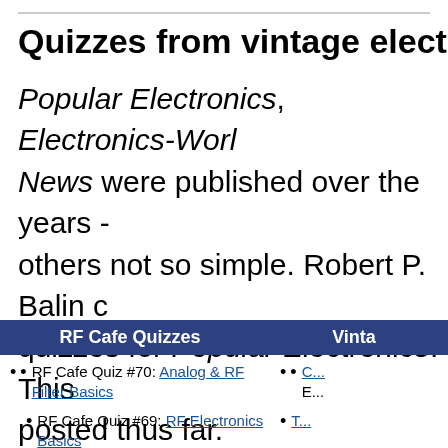Quizzes from vintage electronics ma...
Popular Electronics, Electronics-Worl... News were published over the years - others not so simple. Robert P. Balin c... quizzes for Popular Electronics. This posted thus far.
| RF Cafe Quizzes | Vinta... |
| --- | --- |
| RF Cafe Quiz #70: Analog & RF Filter Basics | C... E... |
| RF Cafe Quiz #69: RF Electronics Basics | T... |
RF Cafe Quiz #70: Analog & RF Filter Basics
RF Cafe Quiz #69: RF Electronics Basics